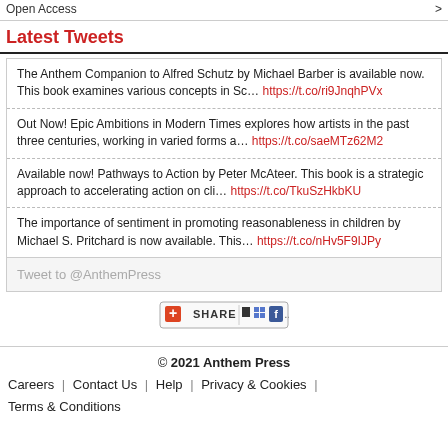Open Access >
Latest Tweets
The Anthem Companion to Alfred Schutz by Michael Barber is available now. This book examines various concepts in Sc… https://t.co/ri9JnqhPVx
Out Now! Epic Ambitions in Modern Times explores how artists in the past three centuries, working in varied forms a… https://t.co/saeMTz62M2
Available now! Pathways to Action by Peter McAteer. This book is a strategic approach to accelerating action on cli… https://t.co/TkuSzHkbKU
The importance of sentiment in promoting reasonableness in children by Michael S. Pritchard is now available. This… https://t.co/nHv5F9IJPy
Tweet to @AnthemPress
[Figure (other): Share button with social media icons including a red plus/share icon, bookmark icon, grid icon, and Facebook icon]
© 2021 Anthem Press
Careers | Contact Us | Help | Privacy & Cookies | Terms & Conditions